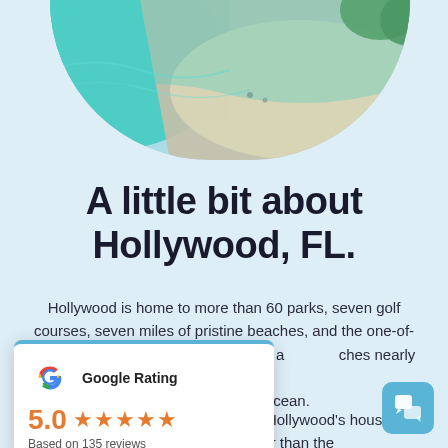[Figure (photo): Aerial photo of a beach with turquoise water and white sandy shore, cropped in a rounded-bottom oval shape]
A little bit about Hollywood, FL.
Hollywood is home to more than 60 parks, seven golf courses, seven miles of pristine beaches, and the one-of-a-kind Hollywood Beach Broadwalk, a [reaches nearly 2.5] [Atlantic Ocean.]
[Figure (infographic): Google Rating popup card showing Google G logo, rating label, score 5.0, five orange stars, and 'Based on 135 reviews']
move, this data could be of help. Hollywood's housing expenses are 9% higher than the